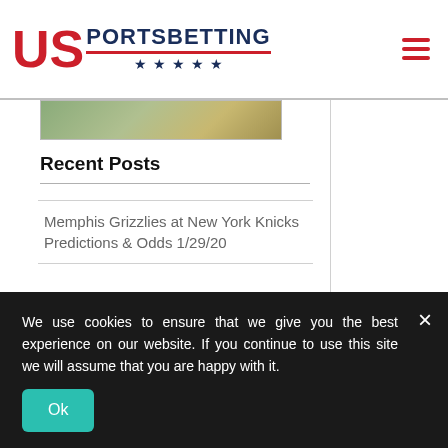US PORTSBETTING
[Figure (photo): Thumbnail image strip showing a partial outdoor/sports photo]
Recent Posts
Memphis Grizzlies at New York Knicks Predictions & Odds 1/29/20
Dallas Mavericks at
We use cookies to ensure that we give you the best experience on our website. If you continue to use this site we will assume that you are happy with it.